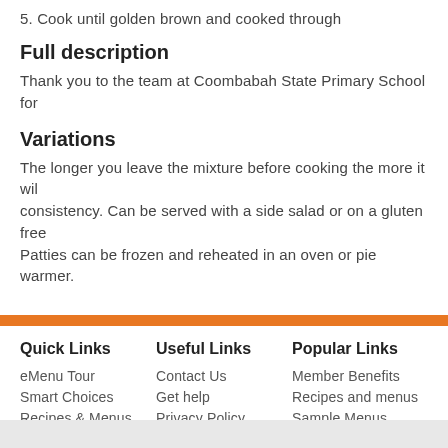5. Cook until golden brown and cooked through
Full description
Thank you to the team at Coombabah State Primary School for
Variations
The longer you leave the mixture before cooking the more it will consistency. Can be served with a side salad or on a gluten free Patties can be frozen and reheated in an oven or pie warmer.
Quick Links | Useful Links | Popular Links
eMenu Tour
Smart Choices
Recipes & Menus
Suppliers
Contact Us
Get help
Privacy Policy
Disclaimer
Terms of Use
Member Benefits
Recipes and menus
Sample Menus
eMenu Tour